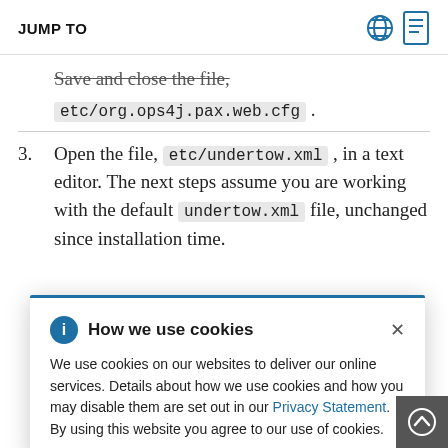JUMP TO
Save and close the file,
etc/org.ops4j.pax.web.cfg .
3. Open the file, etc/undertow.xml , in a text editor. The next steps assume you are working with the default undertow.xml file, unchanged since installation time.
-listener the http- etween e https- lines). The look
How we use cookies — We use cookies on our websites to deliver our online services. Details about how we use cookies and how you may disable them are set out in our Privacy Statement. By using this website you agree to our use of cookies.